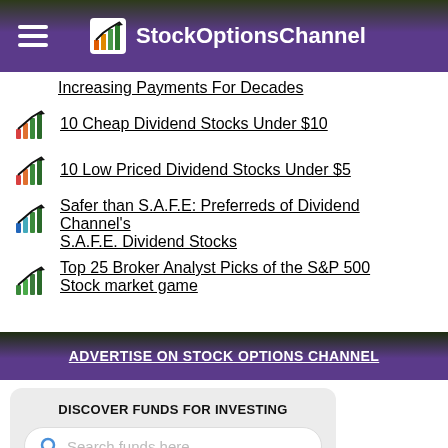StockOptionsChannel
Increasing Payments For Decades
10 Cheap Dividend Stocks Under $10
10 Low Priced Dividend Stocks Under $5
Safer than S.A.F.E: Preferreds of Dividend Channel's S.A.F.E. Dividend Stocks
Top 25 Broker Analyst Picks of the S&P 500
Stock market game
ADVERTISE ON STOCK OPTIONS CHANNEL
DISCOVER FUNDS FOR INVESTING
Search funds here